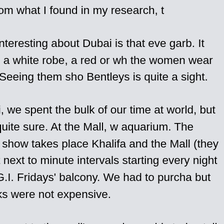view. From what I found in my research, t
What's interesting about Dubai is that eve garb. It includes a white robe, a red or wh the women wear burkas. Seeing them sho Bentleys is quite a sight.
In Dubai, we spent the bulk of our time at world, but I'm not quite sure. At the Mall, w aquarium. The fountain show takes place Khalifa and the Mall (they are right next to minute intervals starting every night at 6p T.G.I. Fridays' balcony. We had to purcha but the drinks were not expensive.
We then went to the mall's aquarium, whi stories tall, 150 feet wide, and about 50 fe and stingrays. Scuba diving lessons are a like it's a full-day activity.
After the Dubai Mall, we finished off our d indoor ski slope. We didn't actually go ski clothing rentals for a reasonable fee. I gue person in the desert probably doesn't hav was somewhere in the range of $50. From